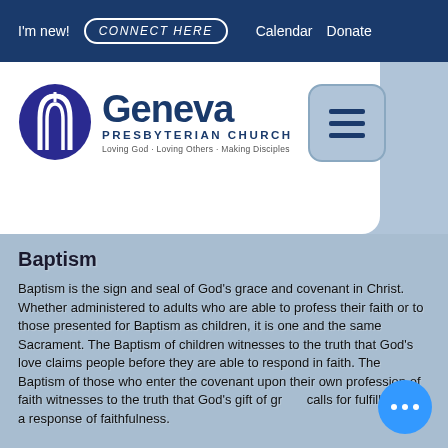I'm new! | CONNECT HERE | Calendar | Donate
[Figure (logo): Geneva Presbyterian Church logo with arch icon. Tagline: Loving God · Loving Others · Making Disciples]
Baptism
Baptism is the sign and seal of God's grace and covenant in Christ. Whether administered to adults who are able to profess their faith or to those presented for Baptism as children, it is one and the same Sacrament. The Baptism of children witnesses to the truth that God's love claims people before they are able to respond in faith. The Baptism of those who enter the covenant upon their own profession of faith witnesses to the truth that God's gift of grace calls for fulfillment in a response of faithfulness.